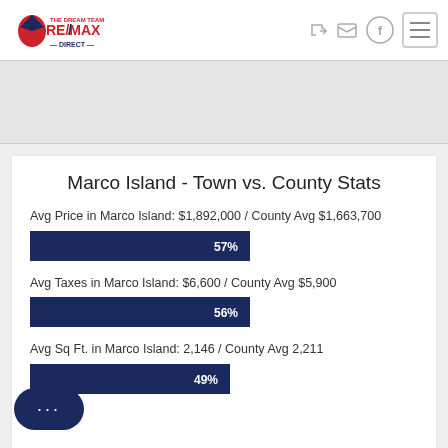[Figure (logo): RE/MAX Direct - The Dream Team logo with hot air balloon icon]
Marco Island - Town vs. County Stats
Avg Price in Marco Island: $1,892,000 / County Avg $1,663,700
[Figure (bar-chart): Avg Price comparison]
Avg Taxes in Marco Island: $6,600 / County Avg $5,900
[Figure (bar-chart): Avg Taxes comparison]
Avg Sq Ft. in Marco Island: 2,146 / County Avg 2,211
[Figure (bar-chart): Avg Sq Ft comparison]